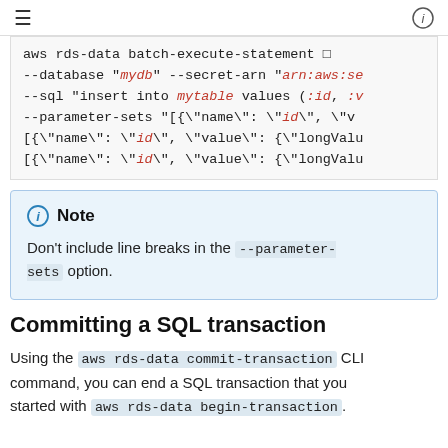≡  ⓘ
aws rds-data batch-execute-statement ☐
--database "mydb" --secret-arn "arn:aws:se
--sql "insert into mytable values (:id, :v
--parameter-sets "[{\"name\": \"id\", \"v
[{\"name\": \"id\", \"value\": {\"longValu
[{\"name\": \"id\", \"value\": {\"longValu
Note
Don't include line breaks in the --parameter-sets option.
Committing a SQL transaction
Using the aws rds-data commit-transaction CLI command, you can end a SQL transaction that you started with aws rds-data begin-transaction.